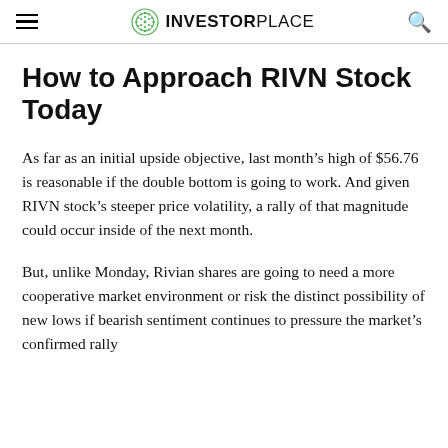INVESTORPLACE
How to Approach RIVN Stock Today
As far as an initial upside objective, last month’s high of $56.76 is reasonable if the double bottom is going to work. And given RIVN stock’s steeper price volatility, a rally of that magnitude could occur inside of the next month.
But, unlike Monday, Rivian shares are going to need a more cooperative market environment or risk the distinct possibility of new lows if bearish sentiment continues to pressure the market’s confirmed rally